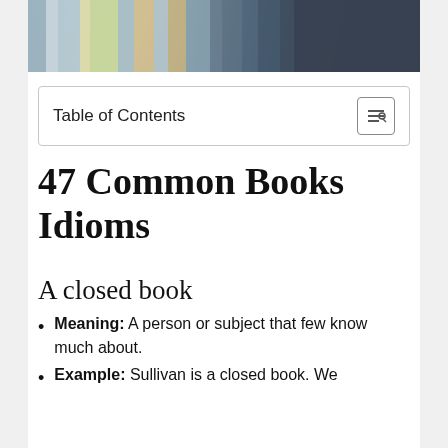[Figure (photo): Photo of colorful books on a shelf, viewed from the side, with a blurred background]
Table of Contents
47 Common Books Idioms
A closed book
Meaning: A person or subject that few know much about.
Example: Sullivan is a closed book. We